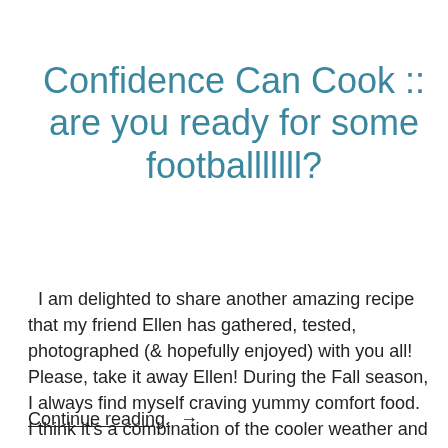Confidence Can Cook :: are you ready for some footballlllll?
I am delighted to share another amazing recipe that my friend Ellen has gathered, tested, photographed (& hopefully enjoyed) with you all! Please, take it away Ellen! During the Fall season, I always find myself craving yummy comfort food. I think it's a combination of the cooler weather and football watching that happens in
Continue reading. →